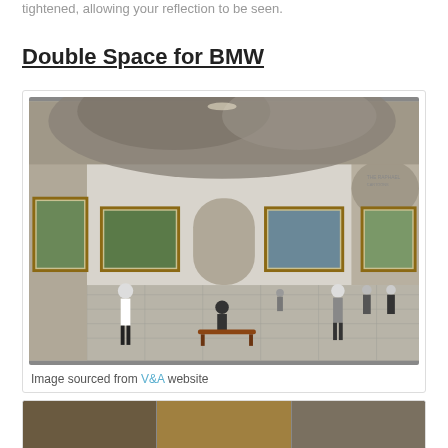tightened, allowing your reflection to be seen.
Double Space for BMW
[Figure (photo): Interior of a museum gallery with a large mirrored or reflective sculptural installation on the ceiling, showing paintings on the walls in gold frames, visitors walking and sitting on benches in the centre of the hall.]
Image sourced from V&A website
[Figure (photo): A strip of three images at the bottom of the page showing warm-toned interior/artistic scenes.]